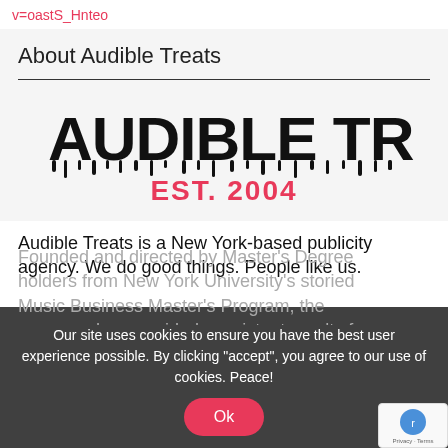v=oastS_Hnteo
About Audible Treats
[Figure (logo): Audible Treats logo with dripping black text reading 'AUDIBLE TREATS' and 'EST. 2004' in red/pink below]
Audible Treats is a New York-based publicity agency. We do good things. People like us.
Founded and directed by Master's Degree holders from New York University's storied Music Business Master's Program, the company has provided consistent results for our clients for over eighteen
Our site uses cookies to ensure you have the best user experience possible. By clicking "accept", you agree to our use of cookies. Peace!